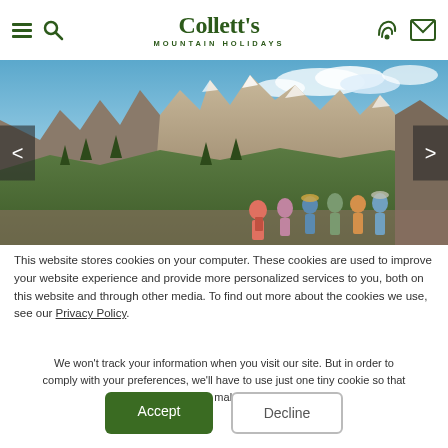Collett's Mountain Holidays
[Figure (photo): Group of hikers standing in front of dramatic rocky mountain peaks with blue sky and clouds in the Dolomites; carousel navigation arrows on left and right]
This website stores cookies on your computer. These cookies are used to improve your website experience and provide more personalized services to you, both on this website and through other media. To find out more about the cookies we use, see our Privacy Policy.
We won't track your information when you visit our site. But in order to comply with your preferences, we'll have to use just one tiny cookie so that you're not asked to make this choice again.